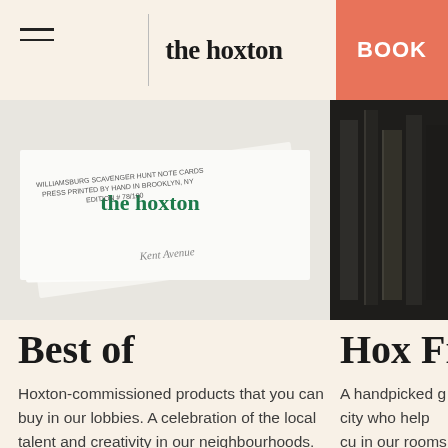the hoxton
[Figure (photo): Close-up of 'the hoxton' branded note cards — Williamsburg Scavenger Hunt Note Cards, press printed by hand in Brooklyn, NY, Edition #78/100, Kent Avenue]
[Figure (photo): Dark interior photo, partially cropped on the right side]
Best of
Hoxton-commissioned products that you can buy in our lobbies. A celebration of the local talent and creativity in our neighbourhoods.
Hox Frie…
A handpicked g… city who help cu… in our rooms an… neighbourhood… initiative we lau… connect with th… bring local cu…